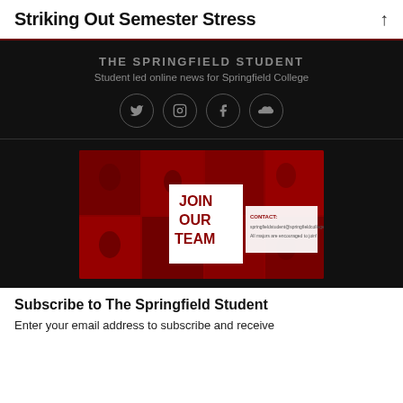Striking Out Semester Stress
THE SPRINGFIELD STUDENT
Student led online news for Springfield College
[Figure (infographic): JOIN OUR TEAM promotional image with red-toned photo collage background and contact information overlay]
Subscribe to The Springfield Student
Enter your email address to subscribe and receive